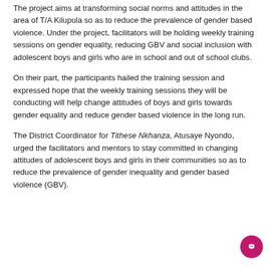The project aims at transforming social norms and attitudes in the area of T/A Kilupula so as to reduce the prevalence of gender based violence. Under the project, facilitators will be holding weekly training sessions on gender equality, reducing GBV and social inclusion with adolescent boys and girls who are in school and out of school clubs.
On their part, the participants hailed the training session and expressed hope that the weekly training sessions they will be conducting will help change attitudes of boys and girls towards gender equality and reduce gender based violence in the long run.
The District Coordinator for Tithese Nkhanza, Atusaye Nyondo, urged the facilitators and mentors to stay committed in changing attitudes of adolescent boys and girls in their communities so as to reduce the prevalence of gender inequality and gender based violence (GBV).